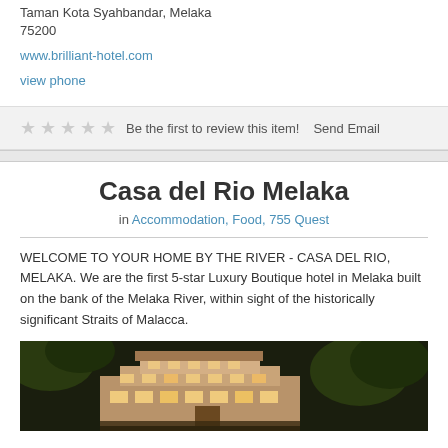Taman Kota Syahbandar, Melaka
75200
www.brilliant-hotel.com
view phone
★★★★★  Be the first to review this item!  Send Email
Casa del Rio Melaka
in Accommodation, Food, 755 Quest
WELCOME TO YOUR HOME BY THE RIVER - CASA DEL RIO, MELAKA. We are the first 5-star Luxury Boutique hotel in Melaka built on the bank of the Melaka River, within sight of the historically significant Straits of Malacca.
[Figure (photo): Nighttime exterior photo of Casa del Rio Melaka hotel building, illuminated with warm lights, surrounded by trees against a dark sky]